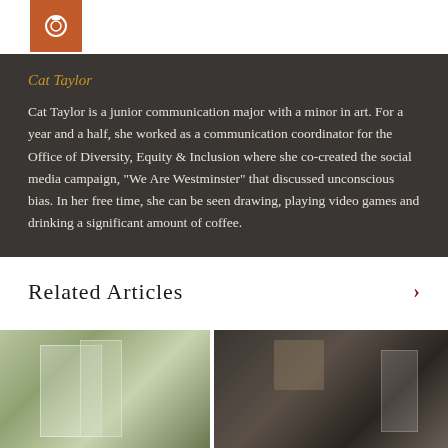[Figure (illustration): Orange/burnt-orange square icon with a circular photo/camera icon in white]
Cat Taylor
Cat Taylor is a junior communication major with a minor in art. For a year and a half, she worked as a communication coordinator for the Office of Diversity, Equity & Inclusion where she co-created the social media campaign, "We Are Westminster" that discussed unconscious bias. In her free time, she can be seen drawing, playing video games and drinking a significant amount of coffee.
Related Articles
[Figure (photo): Two side-by-side photos of indoor scenes, separated by a white divider line. Left photo shows a bright room with plants/greenery and windows. Right photo shows a darker interior corridor or hallway.]